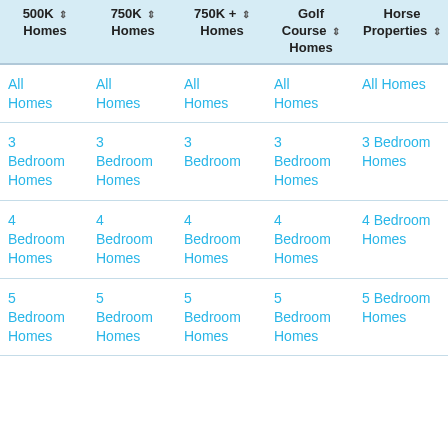| 500K Homes | 750K Homes | 750K + Homes | Golf Course Homes | Horse Properties |
| --- | --- | --- | --- | --- |
| All Homes | All Homes | All Homes | All Homes | All Homes |
| 3 Bedroom Homes | 3 Bedroom Homes | 3 Bedroom Homes | 3 Bedroom Homes | 3 Bedroom Homes |
| 4 Bedroom Homes | 4 Bedroom Homes | 4 Bedroom Homes | 4 Bedroom Homes | 4 Bedroom Homes |
| 5 Bedroom Homes | 5 Bedroom Homes | 5 Bedroom Homes | 5 Bedroom Homes | 5 Bedroom Homes |